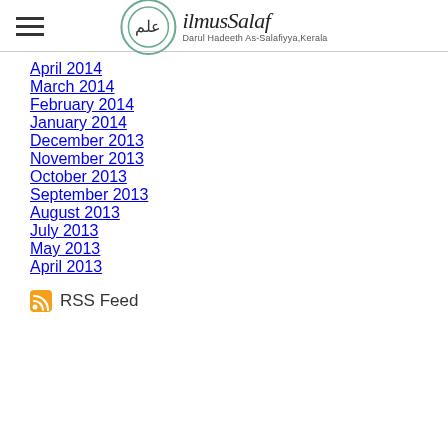ilmusSalaf — Darul Hadeeth As-Salafiyya, Kerala
April 2014
March 2014
February 2014
January 2014
December 2013
November 2013
October 2013
September 2013
August 2013
July 2013
May 2013
April 2013
RSS Feed